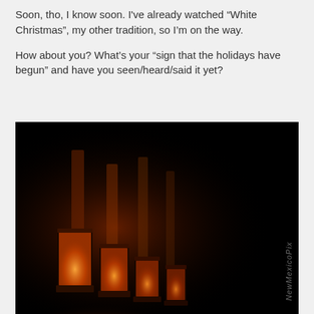Soon, tho, I know soon. I've already watched “White Christmas”, my other tradition, so I’m on the way.

How about you? What’s your “sign that the holidays have begun” and have you seen/heard/said it yet?
[Figure (photo): Dark photograph of glowing luminaria (paper bag lanterns) lit from within with orange/amber light, set against a very dark background with warm orange light casting on a wall behind them. A watermark reading 'NewMexico' or similar is visible vertically on the right side.]